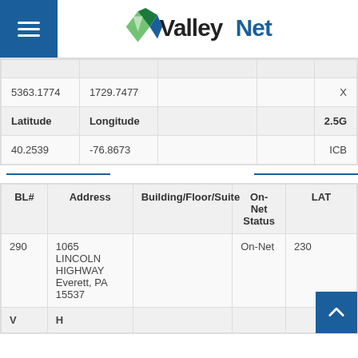[Figure (logo): ValleyNet logo with green and blue diamond shape and text]
|  |  |  |  |  |
| --- | --- | --- | --- | --- |
| 5363.1774 | 1729.7477 |  |  | X |
| Latitude | Longitude |  |  | 2.5G |
| 40.2539 | -76.8673 |  |  | ICB |
| BL# | Address | Building/Floor/Suite | On-Net Status | LAT |
| --- | --- | --- | --- | --- |
| 290 | 1065 LINCOLN HIGHWAY Everett, PA 15537 |  | On-Net | 230 |
| V | H |  |  | - |